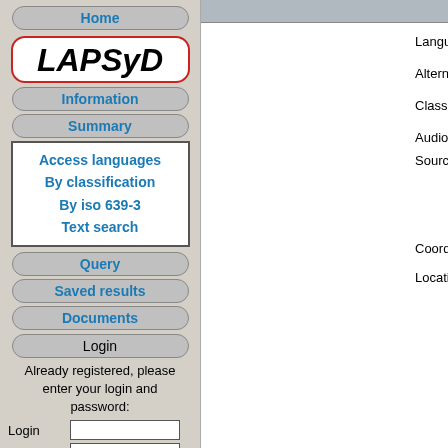Home
[Figure (logo): LAPSyD logo in handwritten/brush script font inside a red-bordered rounded rectangle]
Information
Summary
Access languages
By classification
By iso 639-3
Text search
Query
Saved results
Documents
Login
Already registered, please enter your login and password:
Login  [input field]
Password [input field]
[cart icon]  Enter
| Field | Value |
| --- | --- |
| Language name: | Koya |
| Alternate name: |  |
| Classification: | Dravidian, Sout... |
| Audio resources | Global Record... |
| Source: | Tyler, S.A.
dialect). U
Linguistics,
Berkeley an...

Devagnanavan...
Outreach Pu... |
| Coordinates: | Latitude: 17 |
| Location: | Khammam dist... |